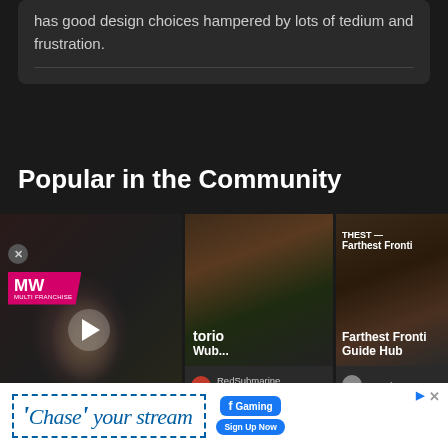has good design choices hampered by lots of tedium and frustration.
Popular in the Community
[Figure (screenshot): Video thumbnail with MW logo badge, play button, and 'BEST RETRO SWITCH GAMES' label overlay on a dark background with animated characters]
[Figure (screenshot): Game thumbnail showing outdoor scene, with title partial text 'torio Wub...' and user RedSubmarine · 29 Jul]
[Figure (screenshot): Game thumbnail with outdoor scene, overlay text 'THEST — Farthest Fronti' and 'Farthest Frontier Guide Hub', user Brandon Ut]
RedSubmarine · 29 Jul
Brandon Ut
Give ... review i
[Figure (screenshot): Chase your stream advertisement banner with Facebook Gaming logo and Sign Up Now button]